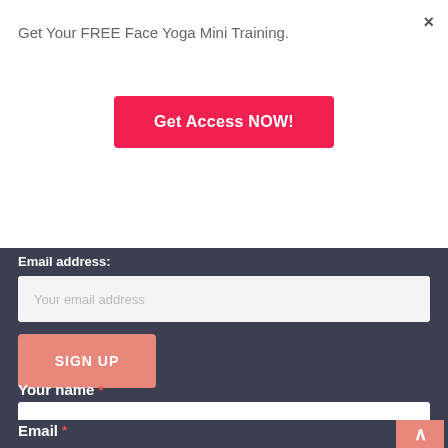×
Get Your FREE Face Yoga Mini Training.
Get Access NOW!
Email address:
Your email address
SIGN UP
Your name *
Email *